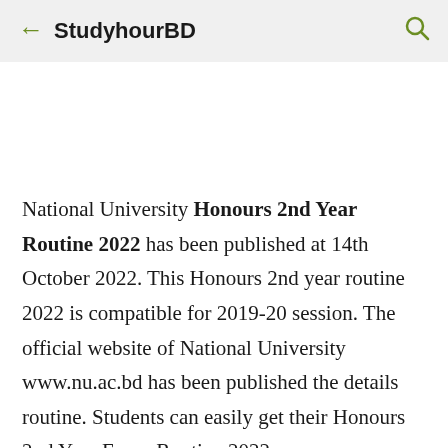← StudyhourBD 🔍
National University Honours 2nd Year Routine 2022 has been published at 14th October 2022. This Honours 2nd year routine 2022 is compatible for 2019-20 session. The official website of National University www.nu.ac.bd has been published the details routine. Students can easily get their Honours 2nd Year Exam Routine 2022